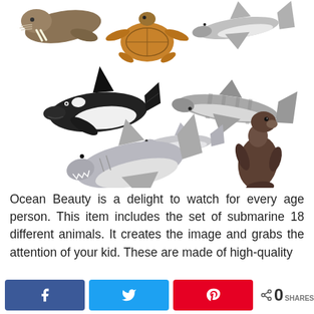[Figure (photo): Collection of ocean animal toy figurines including a walrus, sea turtle, two sharks (hammerhead and tiger), killer whale/orca, dolphin, great white shark, and a sea lion, all arranged on a white background.]
Ocean Beauty is a delight to watch for every age person. This item includes the set of submarine 18 different animals. It creates the image and grabs the attention of your kid. These are made of high-quality
[Figure (infographic): Social share bar with Facebook, Twitter, and Pinterest buttons, plus a share count showing 0 SHARES.]